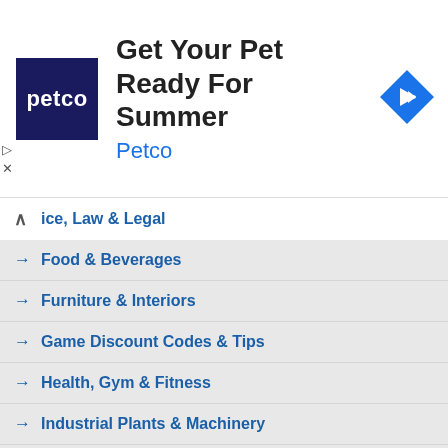[Figure (infographic): Petco advertisement banner: dark navy square logo with 'petco' text in white, headline 'Get Your Pet Ready For Summer', subtext 'Petco' in blue, blue diamond arrow icon on right, ad controls (triangle/X) on left]
↣ ice, Law & Legal
→ Food & Beverages
→ Furniture & Interiors
→ Game Discount Codes & Tips
→ Health, Gym & Fitness
→ Industrial Plants & Machinery
→ Jobs, Staffing & Consulting
→ Lifestyle & Entertainment
→ Loan & Insurance
→ Marble, Granite & Stones
→ News & Online Services
→ Real Estate & Construction
→ Shopping & Daily Needs
→ Sports, Toys & Games